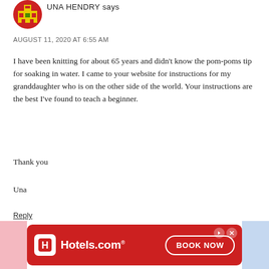[Figure (logo): Red circular avatar with pixel-art building icon in yellow/green]
UNA HENDRY says
AUGUST 11, 2020 AT 6:55 AM
I have been knitting for about 65 years and didn't know the pom-poms tip for soaking in water. I came to your website for instructions for my granddaughter who is on the other side of the world. Your instructions are the best I've found to teach a beginner.
Thank you
Una
Reply
LEAVE A COMMENT
[Figure (infographic): Hotels.com advertisement banner with red background, Hotels.com logo, and BOOK NOW button]